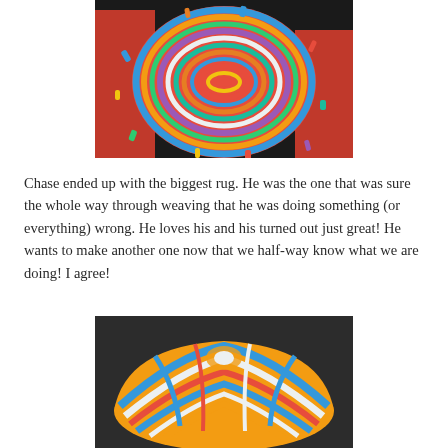[Figure (photo): Person holding a large circular colorful woven rag rug made from multicolored fabric strips in a spiral pattern. Person wearing red shirt visible in background.]
Chase ended up with the biggest rug. He was the one that was sure the whole way through weaving that he was doing something (or everything) wrong. He loves his and his turned out just great! He wants to make another one now that we half-way know what we are doing! I agree!
[Figure (photo): A colorful braided/woven rug in yellow, blue, white, and red fabric strips, shown dome-shaped, photographed on a dark background.]